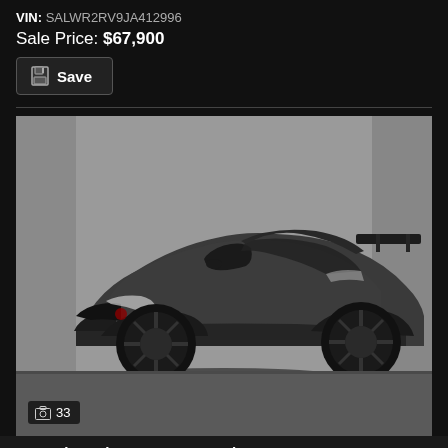VIN: SALWR2RV9JA412996
Sale Price: $67,900
[Figure (photo): Photograph of a dark gray/charcoal 2017 Chevrolet Corvette Grand Sport 1LT sports car, three-quarter front view, parked in a garage with light gray walls. The car has black wheels, black accents, and a rear spoiler.]
33
2017 Chevrolet Corvette Grand Sport 1LT